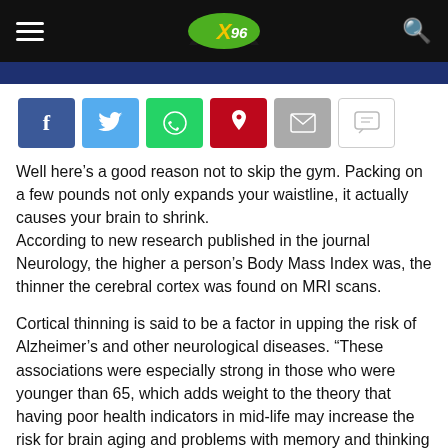X96 — navigation header with logo and search
[Figure (screenshot): Dark blue banner strip below header]
[Figure (infographic): Social share buttons: Facebook, Twitter, WhatsApp, Pinterest, Email, Comment]
Well here’s a good reason not to skip the gym. Packing on a few pounds not only expands your waistline, it actually causes your brain to shrink. According to new research published in the journal Neurology, the higher a person’s Body Mass Index was, the thinner the cerebral cortex was found on MRI scans.
Cortical thinning is said to be a factor in upping the risk of Alzheimer’s and other neurological diseases. “These associations were especially strong in those who were younger than 65, which adds weight to the theory that having poor health indicators in mid-life may increase the risk for brain aging and problems with memory and thinking